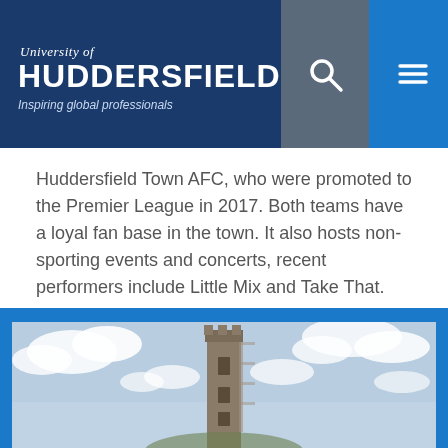University of Huddersfield — Inspiring global professionals
Huddersfield Town AFC, who were promoted to the Premier League in 2017. Both teams have a loyal fan base in the town. It also hosts non-sporting events and concerts, recent performers include Little Mix and Take That.
[Figure (photo): Photograph of a medieval stone tower (Castle Hill / Victoria Tower) against a partly cloudy sky, viewed from below looking up.]